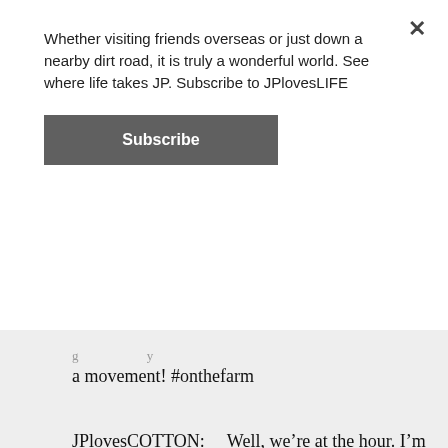Whether visiting friends overseas or just down a nearby dirt road, it is truly a wonderful world. See where life takes JP. Subscribe to JPlovesLIFE
[Figure (other): Subscribe button — dark grey rectangular button with white bold text 'Subscribe']
a movement! #onthefarm
JPlovesCOTTON:     Well, we're at the hour. I'm looking forward to seeing your tweet stream next week.. hope to see more t-shirts, stickers, etc #onthefarm